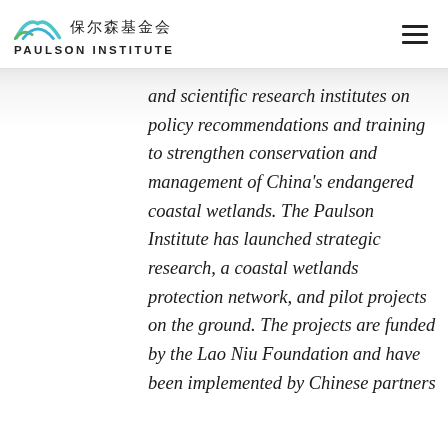保尔森基金会 PAULSON INSTITUTE
and scientific research institutes on policy recommendations and training to strengthen conservation and management of China's endangered coastal wetlands. The Paulson Institute has launched strategic research, a coastal wetlands protection network, and pilot projects on the ground. The projects are funded by the Lao Niu Foundation and have been implemented by Chinese partners